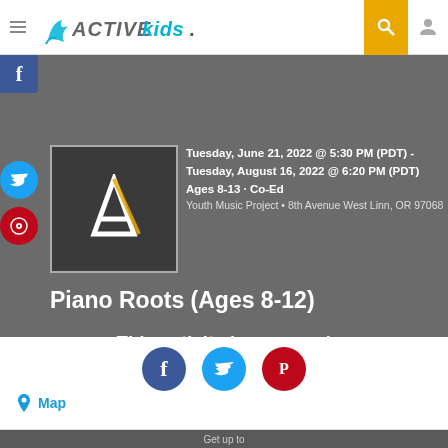ACTIVE kids
Tuesday, June 21, 2022 @ 5:30 PM (PDT) - Tuesday, August 16, 2022 @ 6:20 PM (PDT)
Ages 8-13 · Co-Ed
Youth Music Project • 8th Avenue West Linn, OR 97068
Piano Roots (Ages 8-12)
This activity has passed
Map